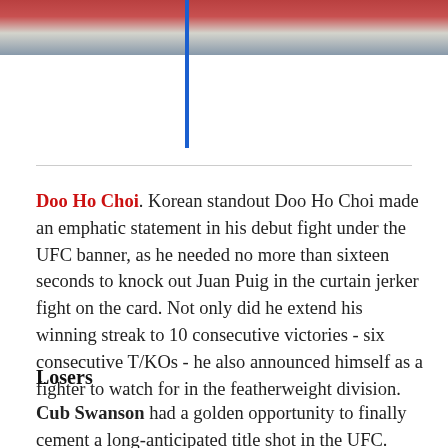[Figure (photo): Partial photo of people at a UFC-related event, cropped at top]
Doo Ho Choi. Korean standout Doo Ho Choi made an emphatic statement in his debut fight under the UFC banner, as he needed no more than sixteen seconds to knock out Juan Puig in the curtain jerker fight on the card. Not only did he extend his winning streak to 10 consecutive victories - six consecutive T/KOs - he also announced himself as a fighter to watch for in the featherweight division.
Losers
Cub Swanson had a golden opportunity to finally cement a long-anticipated title shot in the UFC. Sadly